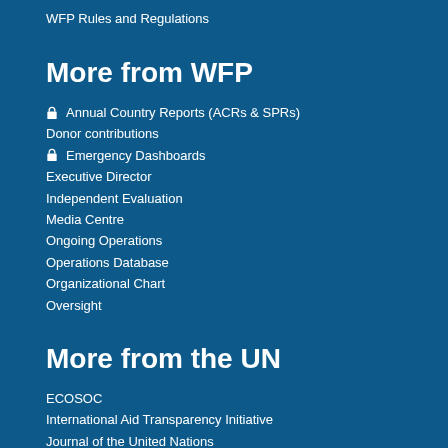WFP Rules and Regulations
More from WFP
Annual Country Reports (ACRs & SPRs)
Donor contributions
Emergency Dashboards
Executive Director
Independent Evaluation
Media Centre
Ongoing Operations
Operations Database
Organizational Chart
Oversight
More from the UN
ECOSOC
International Aid Transparency Initiative
Journal of the United Nations